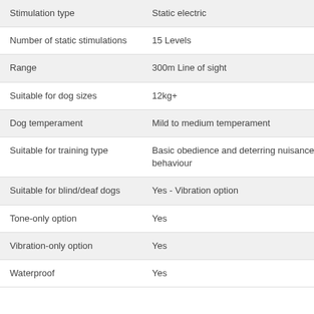|  |  |
| --- | --- |
| Stimulation type | Static electric |
| Number of static stimulations | 15 Levels |
| Range | 300m Line of sight |
| Suitable for dog sizes | 12kg+ |
| Dog temperament | Mild to medium temperament |
| Suitable for training type | Basic obedience and deterring nuisance behaviour |
| Suitable for blind/deaf dogs | Yes - Vibration option |
| Tone-only option | Yes |
| Vibration-only option | Yes |
| Waterproof | Yes |